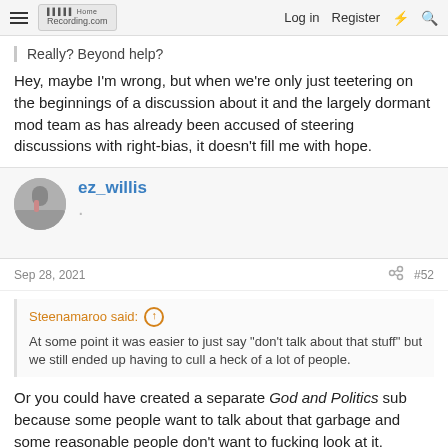HomeRecording.com | Log in | Register
Really? Beyond help?
Hey, maybe I'm wrong, but when we're only just teetering on the beginnings of a discussion about it and the largely dormant mod team as has already been accused of steering discussions with right-bias, it doesn't fill me with hope.
ez_willis
Sep 28, 2021
#52
Steenamaroo said: At some point it was easier to just say "don't talk about that stuff" but we still ended up having to cull a heck of a lot of people.
Or you could have created a separate God and Politics sub because some people want to talk about that garbage and some reasonable people don't want to fucking look at it.